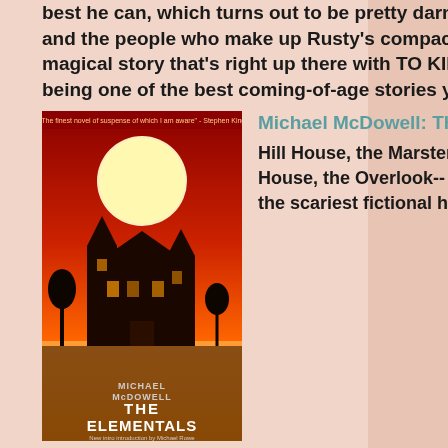best he can, which turns out to be pretty darn good. The bar, the town, and the people who make up Rusty's compact life are the players in this magical story that's right up there with TO KILL A MOCKINGBIRD for being one of the best coming-of-age stories you'll ever read. (****)
[Figure (illustration): Book cover of 'The Elementals' by Michael McDowell - red background with a haunted house silhouette and large moon]
Michael McDowell: The Elementals
Hill House, the Marsten house, Amityville, Hell House, the Overlook-- now I can add Beldame to the scariest fictional haunted house books. Located on the Alabama Gulf Coast on a spit of land between Mobile Bay and the Gulf of Mexico, Beldame is a compound of three identical Victorian houses, used by the McCray and Savage families for decades as summer homes. Something